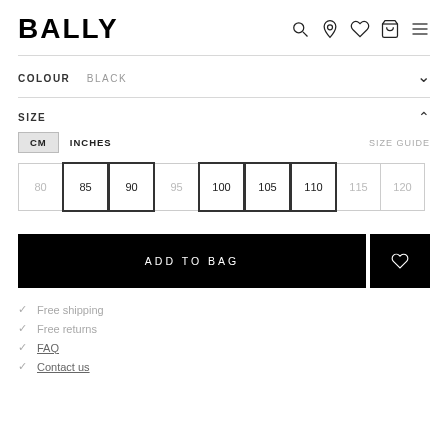BALLY
COLOUR  BLACK
SIZE
CM  INCHES  SIZE GUIDE
80  85  90  95  100  105  110  115  120
ADD TO BAG
Free shipping
Free returns
FAQ
Contact us